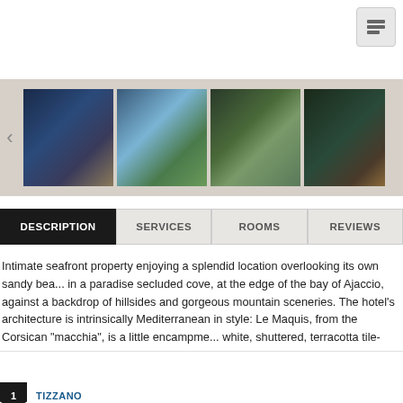[Figure (photo): Icon/logo button in top right corner]
[Figure (photo): Horizontal photo strip with four travel/hotel photos: harbor at night, coastal beach with greenery, animal closeup, palm-lined path at night]
DESCRIPTION | SERVICES | ROOMS | REVIEWS
Intimate seafront property enjoying a splendid location overlooking its own sandy bea... in a paradise secluded cove, at the edge of the bay of Ajaccio, against a backdrop of hillsides and gorgeous mountain sceneries. The hotel's architecture is intrinsically Mediterranean in style: Le Maquis, from the Corsican "macchia", is a little encampme... white, shuttered, terracotta tile-roofed pavilions with crenellated buildings in the Cors... style of Genoese towers and citadels. Cool...
See more
EXPERIENCES CLOSE TO THE HOTEL
TIZZANO